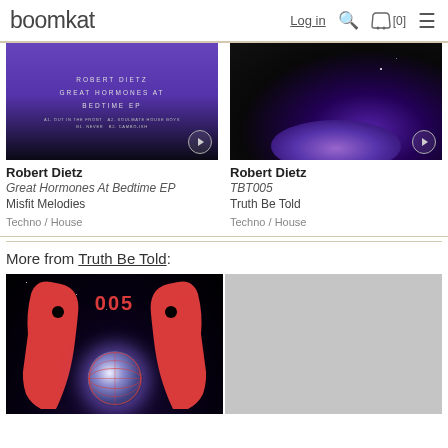boomkat  Log in  [0]
[Figure (photo): Album artwork for Robert Dietz Great Hormones At Bedtime EP - purple background with text]
Robert Dietz
Great Hormones At Bedtime EP
Misfit Melodies
Techno / House
[Figure (photo): Album artwork for Robert Dietz TBT005 - dark space scene with purple planet]
Robert Dietz
TBT005
Truth Be Told
Techno / House
More from Truth Be Told:
[Figure (photo): Album artwork showing two red silhouette heads facing each other with 005 text and a glowing planet, space background]
[Figure (photo): Gray placeholder image]